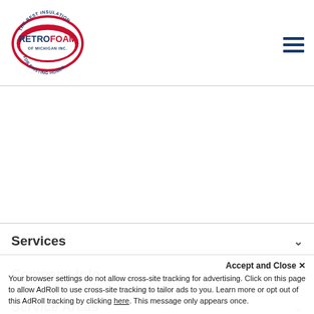[Figure (logo): RetroFoam of Michigan Inc. logo — red oval badge with blue text reading RETROFOAM and tagline FOR EXISTING HOMES]
[Figure (other): Hamburger menu icon — three horizontal dark blue lines]
Services
Company Info
Service Areas
Accept and Close ✕
Your browser settings do not allow cross-site tracking for advertising. Click on this page to allow AdRoll to use cross-site tracking to tailor ads to you. Learn more or opt out of this AdRoll tracking by clicking here. This message only appears once.